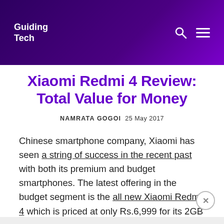Guiding Tech
Xiaomi Redmi 4 Review: Total Value for Money
NAMRATA GOGOI  25 May 2017
Chinese smartphone company, Xiaomi has seen a string of success in the recent past with both its premium and budget smartphones. The latest offering in the budget segment is the all new Xiaomi Redmi 4 which is priced at only Rs.6,999 for its 2GB variant and looks as promising as ever.